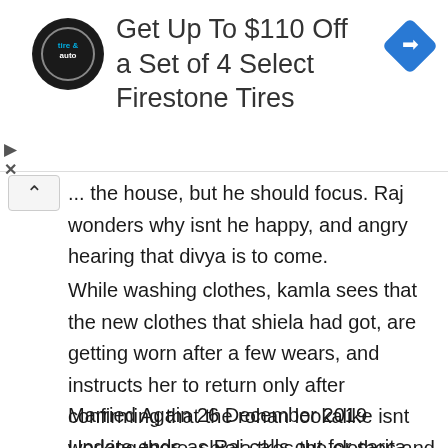[Figure (other): Advertisement banner for Firestone Tires: circular logo with 'tire & auto' text, heading 'Get Up To $110 Off a Set of 4 Select Firestone Tires', and a blue diamond navigation icon on the right.]
... the house, but he should focus. Raj wonders why isnt he happy, and angry hearing that divya is to come.
While washing clothes, kamla sees that the new clothes that shiela had got, are getting worn after a few wears, and instructs her to return only after confirming that the rohan lookalike isnt working there. shiela tkes the clothes and is in tension.
Married Again 26 December 2019 Update ends as Raj calls out for sarita, but isnt able to find her. She finally comes and asks whats the matter. She asks why is he so tensed. But just then lights go off. Sarita hugs him.